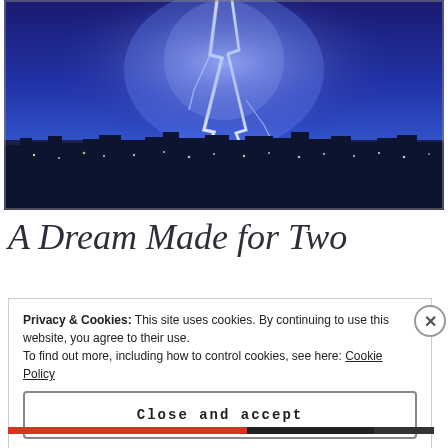[Figure (photo): Night cityscape with lightning strikes over a dense urban skyline. The city lights glow in blues and whites, with two large lightning bolts striking down from a blue-purple storm sky.]
A Dream Made for Two
Privacy & Cookies: This site uses cookies. By continuing to use this website, you agree to their use.
To find out more, including how to control cookies, see here: Cookie Policy
Close and accept